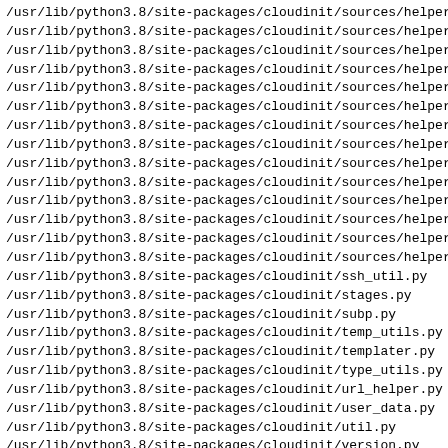/usr/lib/python3.8/site-packages/cloudinit/sources/helper
/usr/lib/python3.8/site-packages/cloudinit/sources/helper
/usr/lib/python3.8/site-packages/cloudinit/sources/helper
/usr/lib/python3.8/site-packages/cloudinit/sources/helper
/usr/lib/python3.8/site-packages/cloudinit/sources/helper
/usr/lib/python3.8/site-packages/cloudinit/sources/helper
/usr/lib/python3.8/site-packages/cloudinit/sources/helper
/usr/lib/python3.8/site-packages/cloudinit/sources/helper
/usr/lib/python3.8/site-packages/cloudinit/sources/helper
/usr/lib/python3.8/site-packages/cloudinit/sources/helper
/usr/lib/python3.8/site-packages/cloudinit/sources/helper
/usr/lib/python3.8/site-packages/cloudinit/sources/helper
/usr/lib/python3.8/site-packages/cloudinit/sources/helper
/usr/lib/python3.8/site-packages/cloudinit/sources/helper
/usr/lib/python3.8/site-packages/cloudinit/ssh_util.py
/usr/lib/python3.8/site-packages/cloudinit/stages.py
/usr/lib/python3.8/site-packages/cloudinit/subp.py
/usr/lib/python3.8/site-packages/cloudinit/temp_utils.py
/usr/lib/python3.8/site-packages/cloudinit/templater.py
/usr/lib/python3.8/site-packages/cloudinit/type_utils.py
/usr/lib/python3.8/site-packages/cloudinit/url_helper.py
/usr/lib/python3.8/site-packages/cloudinit/user_data.py
/usr/lib/python3.8/site-packages/cloudinit/util.py
/usr/lib/python3.8/site-packages/cloudinit/version.py
/usr/lib/python3.8/site-packages/cloudinit/warnings.py
/usr/lib/systemd/system-generators/cloud-init-generator
/usr/lib/systemd/system/cloud-config.service
/usr/lib/systemd/system/cloud-config.target
/usr/lib/systemd/system/cloud-final.service
/usr/lib/systemd/system/cloud-init-local.service